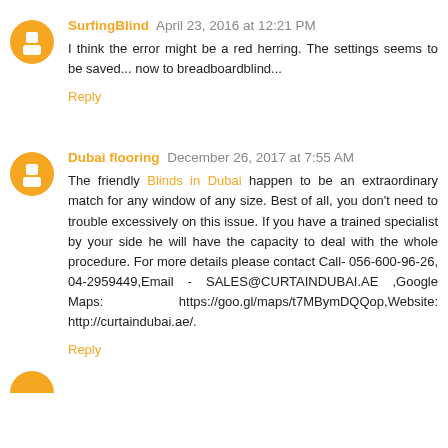SurfingBlind  April 23, 2016 at 12:21 PM
I think the error might be a red herring. The settings seems to be saved... now to breadboardblind...
Reply
Dubai flooring  December 26, 2017 at 7:55 AM
The friendly Blinds in Dubai happen to be an extraordinary match for any window of any size. Best of all, you don't need to trouble excessively on this issue. If you have a trained specialist by your side he will have the capacity to deal with the whole procedure. For more details please contact Call- 056-600-96-26, 04-2959449,Email - SALES@CURTAINDUBAI.AE ,Google Maps: https://goo.gl/maps/t7MBymDQQop,Website: http://curtaindubai.ae/.
Reply